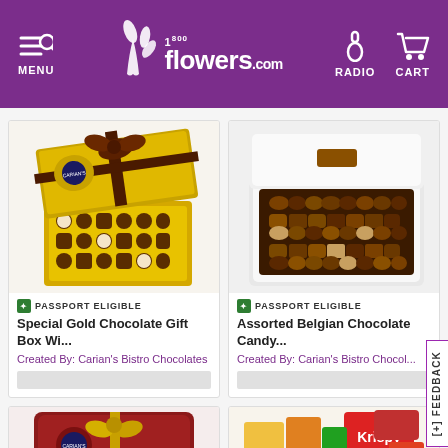1-800-flowers.com — MENU | RADIO | CART
[Figure (photo): Special Gold Chocolate Gift Box with bow from Carian's Bistro Chocolates]
PASSPORT ELIGIBLE
Special Gold Chocolate Gift Box Wi...
Created By: Carian's Bistro Chocolates
[Figure (photo): Assorted Belgian Chocolate Candy in white box from Carian's Bistro Chocolates]
PASSPORT ELIGIBLE
Assorted Belgian Chocolate Candy...
Created By: Carian's Bistro Chocol...
[Figure (photo): Red Carian's Bistro Chocolates gift box with gold bow]
[Figure (photo): Assorted candy snack gift basket with Krispy and other snacks]